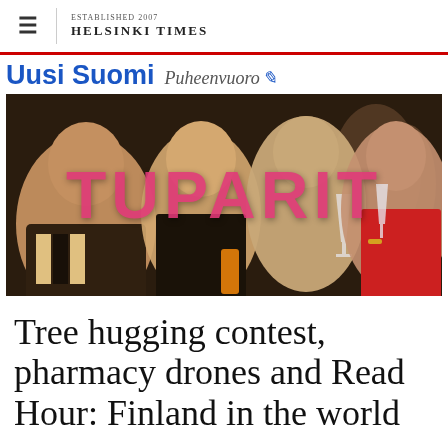≡  HELSINKI TIMES
[Figure (photo): Uusi Suomi Puheenvuoro logo banner above a party photo of four women smiling and holding drinks, with the word TUPARIT overlaid in large pink text]
Tree hugging contest, pharmacy drones and Read Hour: Finland in the world press